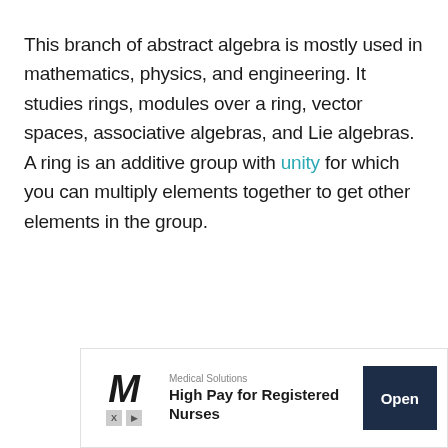This branch of abstract algebra is mostly used in mathematics, physics, and engineering. It studies rings, modules over a ring, vector spaces, associative algebras, and Lie algebras. A ring is an additive group with unity for which you can multiply elements together to get other elements in the group.
[Figure (other): Advertisement banner for Medical Solutions: High Pay for Registered Nurses, with an Open button]